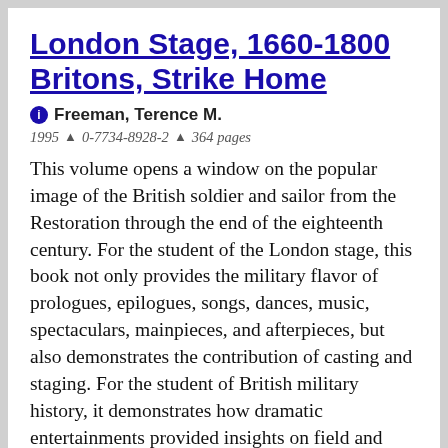London Stage, 1660-1800 Britons, Strike Home
Freeman, Terence M.
1995 ▲ 0-7734-8928-2 ▲ 364 pages
This volume opens a window on the popular image of the British soldier and sailor from the Restoration through the end of the eighteenth century. For the student of the London stage, this book not only provides the military flavor of prologues, epilogues, songs, dances, music, spectaculars, mainpieces, and afterpieces, but also demonstrates the contribution of casting and staging. For the student of British military history, it demonstrates how dramatic entertainments provided insights on field and shipboard life, recruitment, impressment, pay, and the militia. It also illustrates how active stagecraft recreated